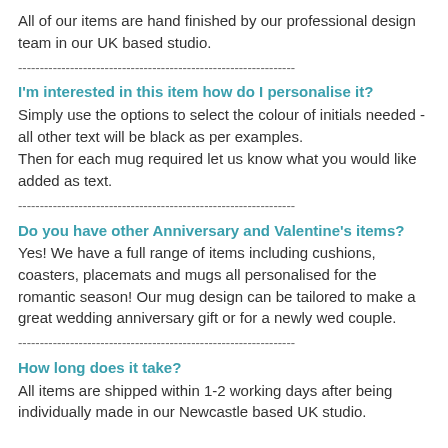All of our items are hand finished by our professional design team in our UK based studio.
----------------------------------------------------------------
I'm interested in this item how do I personalise it?
Simply use the options to select the colour of initials needed - all other text will be black as per examples.
Then for each mug required let us know what you would like added as text.
----------------------------------------------------------------
Do you have other Anniversary and Valentine's items?
Yes! We have a full range of items including cushions, coasters, placemats and mugs all personalised for the romantic season! Our mug design can be tailored to make a great wedding anniversary gift or for a newly wed couple.
----------------------------------------------------------------
How long does it take?
All items are shipped within 1-2 working days after being individually made in our Newcastle based UK studio.